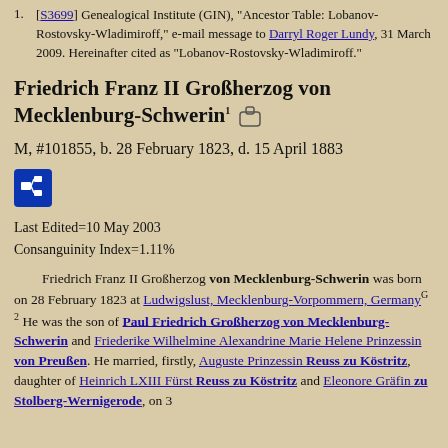[S3699] Genealogical Institute (GIN), "Ancestor Table: Lobanov-Rostovsky-Wladimiroff," e-mail message to Darryl Roger Lundy, 31 March 2009. Hereinafter cited as "Lobanov-Rostovsky-Wladimiroff."
Friedrich Franz II Großherzog von Mecklenburg-Schwerin
M, #101855, b. 28 February 1823, d. 15 April 1883
Last Edited=10 May 2003
Consanguinity Index=1.11%
Friedrich Franz II Großherzog von Mecklenburg-Schwerin was born on 28 February 1823 at Ludwigslust, Mecklenburg-Vorpommern, Germany. He was the son of Paul Friedrich Großherzog von Mecklenburg-Schwerin and Friederike Wilhelmine Alexandrine Marie Helene Prinzessin von Preußen. He married, firstly, Auguste Prinzessin Reuss zu Köstritz, daughter of Heinrich LXIII Fürst Reuss zu Köstritz and Eleonore Gräfin zu Stolberg-Wernigerode, on 3